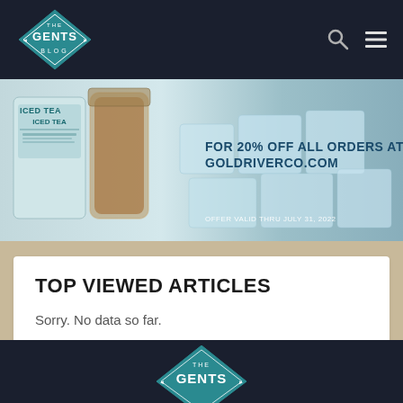THE GENTS BLOG
[Figure (photo): Advertisement banner for Gold River Co. iced tea showing a mason jar of iced tea and ice cubes. Text reads: ICED TEA, FOR 20% OFF ALL ORDERS AT GOLDRIVERCO.COM, OFFER VALID THRU JULY 31, 2022]
TOP VIEWED ARTICLES
Sorry. No data so far.
[Figure (logo): The Gents Blog logo partially visible in footer]